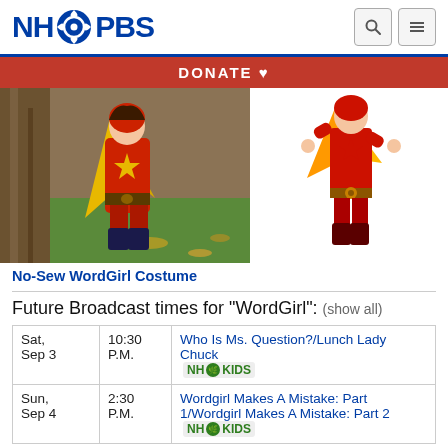NH PBS
DONATE ♥
[Figure (photo): Child dressed in a red and yellow WordGirl superhero costume standing in front of a tree outdoors]
[Figure (illustration): Cartoon illustration of WordGirl superhero character in red costume with yellow cape and star emblem]
No-Sew WordGirl Costume
Future Broadcast times for "WordGirl": (show all)
|  |  |  |
| --- | --- | --- |
| Sat,
Sep 3 | 10:30
P.M. | Who Is Ms. Question?/Lunch Lady Chuck
NH KIDS |
| Sun,
Sep 4 | 2:30
P.M. | Wordgirl Makes A Mistake: Part 1/Wordgirl Makes A Mistake: Part 2  NH KIDS |